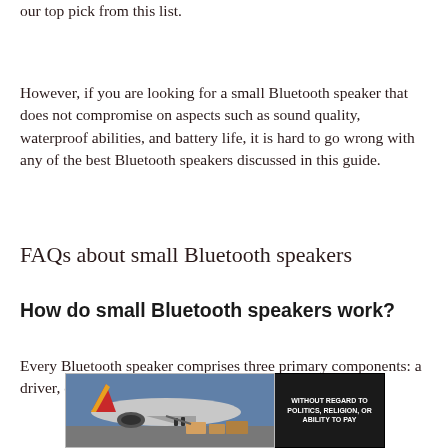our top pick from this list.
However, if you are looking for a small Bluetooth speaker that does not compromise on aspects such as sound quality, waterproof abilities, and battery life, it is hard to go wrong with any of the best Bluetooth speakers discussed in this guide.
FAQs about small Bluetooth speakers
How do small Bluetooth speakers work?
Every Bluetooth speaker comprises three primary components: a driver, crossover, and cabinet.
[Figure (photo): Advertisement banner showing an airplane being loaded with cargo, with an overlay text reading 'WITHOUT REGARD TO POLITICS, RELIGION, OR ABILITY TO PAY']